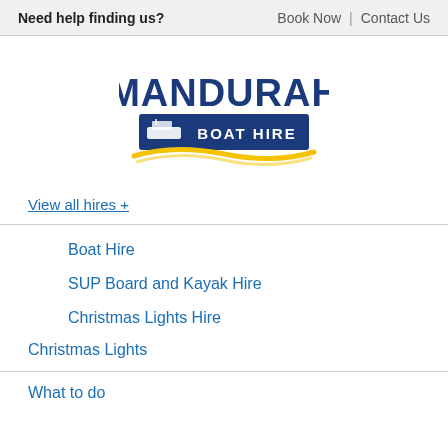Need help finding us?  Book Now | Contact Us
[Figure (logo): Mandurah Boat Hire logo — bold navy text 'MANDURAH' above a dark blue rectangle with white text 'BOAT HIRE' and a small boat icon, with a gold/yellow wave swoosh beneath]
View all hires +
Boat Hire
SUP Board and Kayak Hire
Christmas Lights Hire
Christmas Lights
What to do